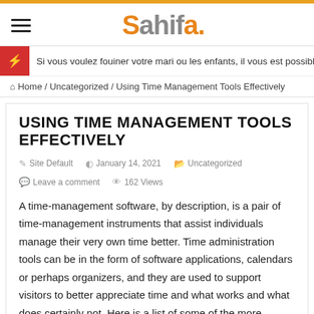Sahifa.
Si vous voulez fouiner votre mari ou les enfants, il vous est possible de essaye
Home / Uncategorized / Using Time Management Tools Effectively
USING TIME MANAGEMENT TOOLS EFFECTIVELY
Site Default   January 14, 2021   Uncategorized   Leave a comment   162 Views
A time-management software, by description, is a pair of time-management instruments that assist individuals manage their very own time better. Time administration tools can be in the form of software applications, calendars or perhaps organizers, and they are used to support visitors to better appreciate time and what works and what does certainly not. Here is a list of some of the more prevalent time-management instruments: